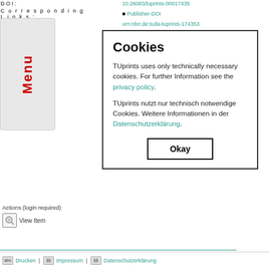| Field | Value |
| --- | --- |
| DOI: | 10.26083/tuprints-00017435 |
| Corresponding Links: | Publisher-DOI |
| URN: | urn:nbn:de:tuda-tuprints-174353 |
| SWORD Depositor: | Deep Green |
| URL: |  |
| PPN: |  |
| Export: |  |
Actions (login required)
View Item
OAI 2.0 -Basis-URL: https://tuprints...
Cookies
TUprints uses only technically necessary cookies. For further Information see the privacy policy.
TUprints nutzt nur technisch notwendige Cookies. Weitere Informationen in der Datenschutzerklärung.
Okay
Drucken | Impressum | Datenschutzerklärung